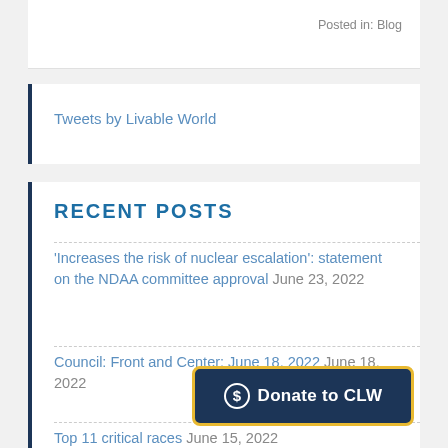Posted in: Blog
Tweets by Livable World
RECENT POSTS
'Increases the risk of nuclear escalation': statement on the NDAA committee approval June 23, 2022
Council: Front and Center: June 18, 2022 June 18, 2022
Top 11 critical races June 15, 2022
House Elections: Democratic and Republican
[Figure (other): Donate to CLW button with dollar sign icon, dark navy background with yellow border]